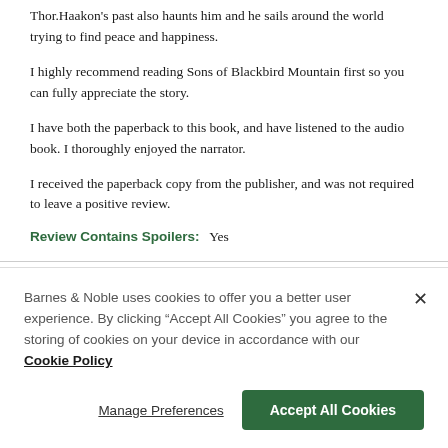Thor.Haakon's past also haunts him and he sails around the world trying to find peace and happiness.
I highly recommend reading Sons of Blackbird Mountain first so you can fully appreciate the story.
I have both the paperback to this book, and have listened to the audio book. I thoroughly enjoyed the narrator.
I received the paperback copy from the publisher, and was not required to leave a positive review.
Review Contains Spoilers:   Yes
Barnes & Noble uses cookies to offer you a better user experience. By clicking "Accept All Cookies" you agree to the storing of cookies on your device in accordance with our Cookie Policy
Manage Preferences
Accept All Cookies